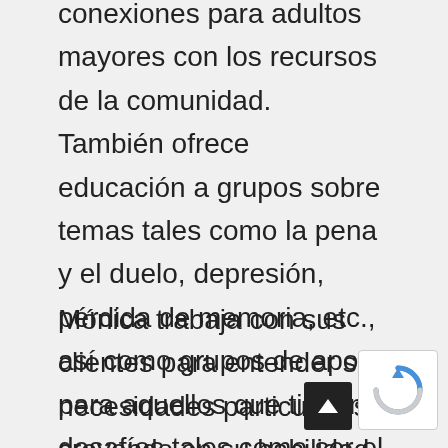conexiones para adultos mayores con los recursos de la comunidad.  También ofrece  educación a grupos sobre temas tales como la pena y el duelo, depresión, pérdida de memoria, etc., así como grupos de apoyo para aquellos que tienen desafíos tales como ser el cuidador de un ser querido.
Mónica trabaja con sus clientes para entender sus necesidades particulares, creyendo en su habilidad para que puedan superar sus